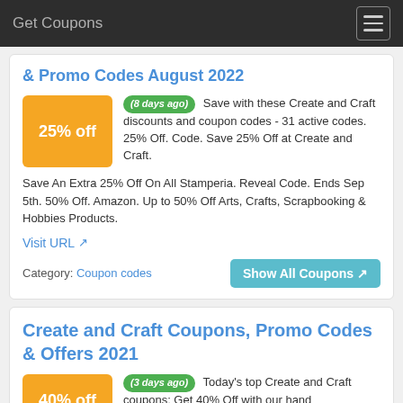Get Coupons
& Promo Codes August 2022
(8 days ago) Save with these Create and Craft discounts and coupon codes - 31 active codes. 25% Off. Code. Save 25% Off at Create and Craft. Save An Extra 25% Off On All Stamperia. Reveal Code. Ends Sep 5th. 50% Off. Amazon. Up to 50% Off Arts, Crafts, Scrapbooking & Hobbies Products.
Visit URL
Category: Coupon codes
Show All Coupons
Create and Craft Coupons, Promo Codes & Offers 2021
(3 days ago) Today's top Create and Craft coupons: Get 40% Off with our hand